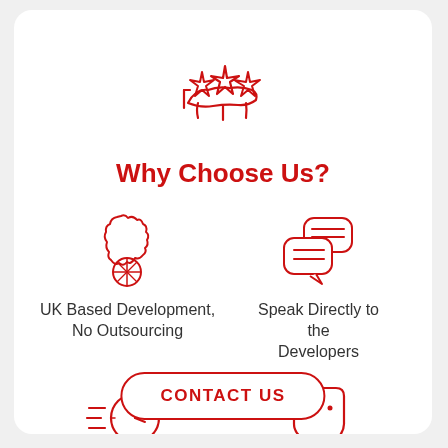[Figure (illustration): Red line-art icon of three stars resting on an open hand, centered at top of card]
Why Choose Us?
[Figure (illustration): Red line-art icon of UK map with Union Jack shield]
UK Based Development, No Outsourcing
[Figure (illustration): Red line-art icon of two speech bubbles with lines inside]
Speak Directly to the Developers
[Figure (illustration): Red line-art icon of a clock with motion lines indicating rapid speed]
Rapid Development
[Figure (illustration): Red line-art icon of a price tag]
Competitive Day Rates
CONTACT US